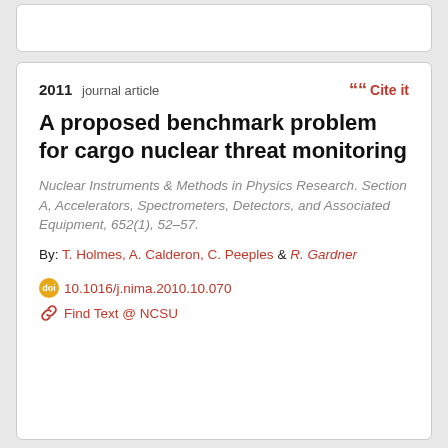2011  journal article
Cite it
A proposed benchmark problem for cargo nuclear threat monitoring
Nuclear Instruments & Methods in Physics Research. Section A, Accelerators, Spectrometers, Detectors, and Associated Equipment, 652(1), 52–57.
By: T. Holmes, A. Calderon, C. Peeples & R. Gardner
10.1016/j.nima.2010.10.070
Find Text @ NCSU